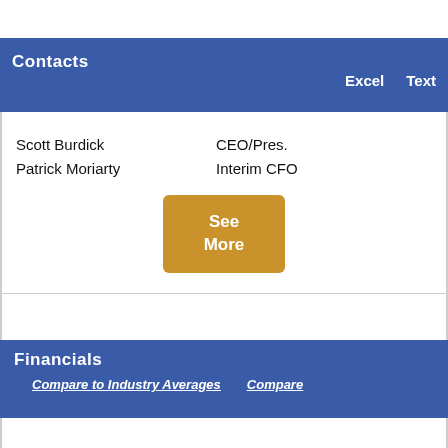Contacts
Excel   Text
Scott Burdick
Patrick Moriarty
CEO/Pres.
Interim CFO
See More
Financials
Compare to Industry Averages   Compare
| $USD, In whole numbers |
| --- |